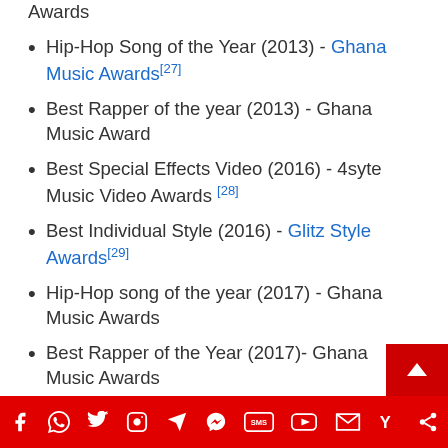Awards
Hip-Hop Song of the Year (2013) - Ghana Music Awards[27]
Best Rapper of the year (2013) - Ghana Music Award
Best Special Effects Video (2016) - 4syte Music Video Awards [28]
Best Individual Style (2016) - Glitz Style Awards[29]
Hip-Hop song of the year (2017) - Ghana Music Awards
Best Rapper of the Year (2017)- Ghana Music Awards
Midem Best Artist (2017)- International Midem Awards, France[30]
Social media share bar